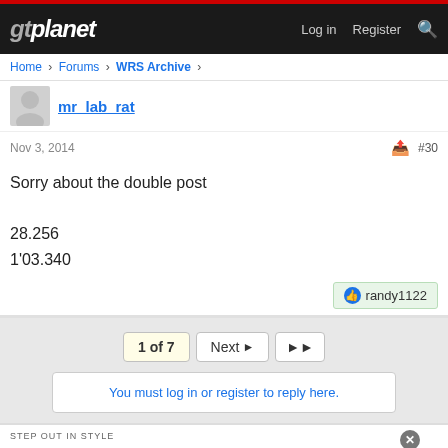gtplanet — Log in  Register
Home > Forums > WRS Archive >
mr_lab_rat
Nov 3, 2014  #30
Sorry about the double post

28.256
1'03.340
randy1122
1 of 7  Next  >>
You must log in or register to reply here.
[Figure (other): BELK advertisement banner with shoe images and Step out in style tagline]